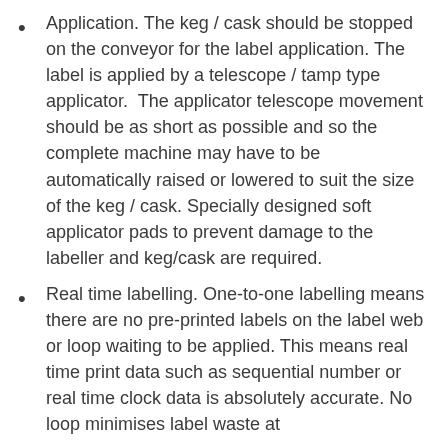Application. The keg / cask should be stopped on the conveyor for the label application. The label is applied by a telescope / tamp type applicator.  The applicator telescope movement should be as short as possible and so the complete machine may have to be automatically raised or lowered to suit the size of the keg / cask. Specially designed soft applicator pads to prevent damage to the labeller and keg/cask are required.
Real time labelling. One-to-one labelling means there are no pre-printed labels on the label web or loop waiting to be applied. This means real time print data such as sequential number or real time clock data is absolutely accurate. No loop minimises label waste at